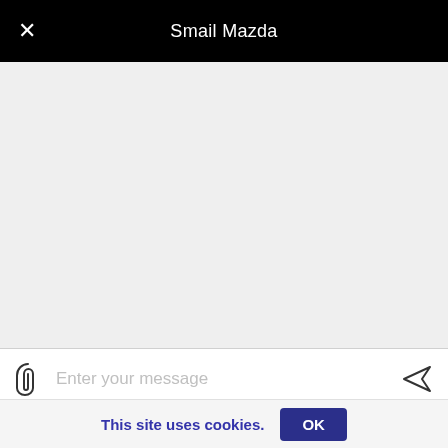Smail Mazda
[Figure (screenshot): Empty grey chat area background]
[Figure (screenshot): Message input bar with attach icon, 'Enter your message' placeholder, and send arrow icon]
[Figure (photo): Partial bottom view of a silver/white car showing two wheels against white background]
This site uses cookies.
OK